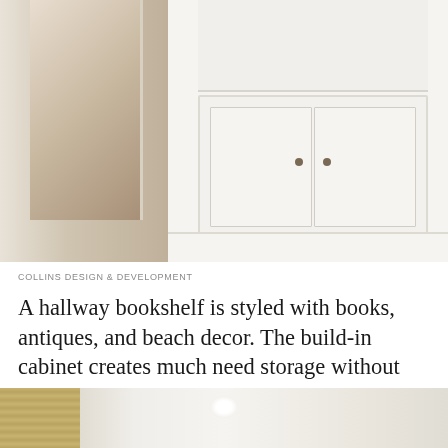[Figure (photo): Interior hallway with dark hardwood floors, a white built-in bookshelf and cabinet with two lower doors, decorated with books, antiques and beach decor. A cat is visible on the left side near the floor. A doorway opens to a living room with patterned rug in the background.]
COLLINS DESIGN & DEVELOPMENT
A hallway bookshelf is styled with books, antiques, and beach decor. The build-in cabinet creates much need storage without taking up too much square footage.
[Figure (photo): Bottom portion of a bright white hallway interior with bamboo/woven blinds on the left window, white doors/cabinets on either side, and a ceiling light fixture visible at top center.]